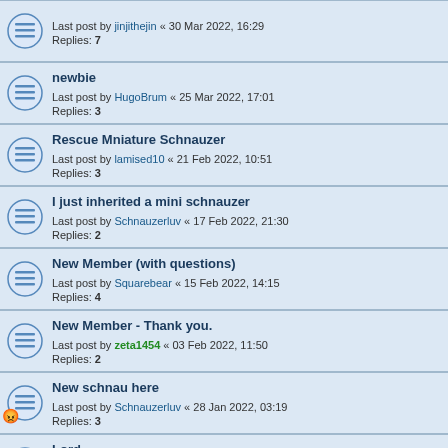Last post by jinjithejin « 30 Mar 2022, 16:29
Replies: 7
newbie
Last post by HugoBrum « 25 Mar 2022, 17:01
Replies: 3
Rescue Mniature Schnauzer
Last post by lamised10 « 21 Feb 2022, 10:51
Replies: 3
I just inherited a mini schnauzer
Last post by Schnauzerluv « 17 Feb 2022, 21:30
Replies: 2
New Member (with questions)
Last post by Squarebear « 15 Feb 2022, 14:15
Replies: 4
New Member - Thank you.
Last post by zeta1454 « 03 Feb 2022, 11:50
Replies: 2
New schnau here
Last post by Schnauzerluv « 28 Jan 2022, 03:19
Replies: 3
Lord
Last post by zeta1454 « 26 Jan 2022, 15:15
Replies: 3
New Topic  |  sort  |  2036 topics  1 2 3 4 5 ... 82 >